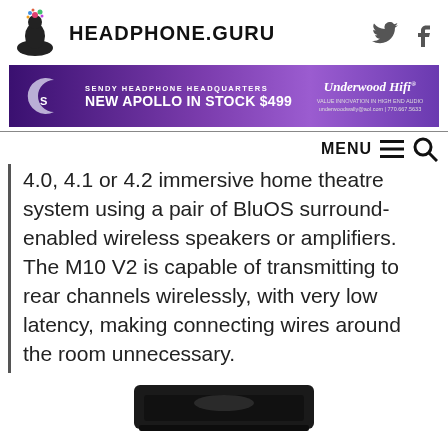HEADPHONE.GURU
[Figure (infographic): Headphone.Guru banner advertisement for Sendy Headphone Headquarters: NEW APOLLO IN STOCK $499, Underwood HiFi, underwoodwally@aol.com | 770.667.5633]
4.0, 4.1 or 4.2 immersive home theatre system using a pair of BluOS surround-enabled wireless speakers or amplifiers. The M10 V2 is capable of transmitting to rear channels wirelessly, with very low latency, making connecting wires around the room unnecessary.
[Figure (photo): Bottom portion of a black electronic device (likely the M10 V2) shown at the bottom of the page, partially cropped.]